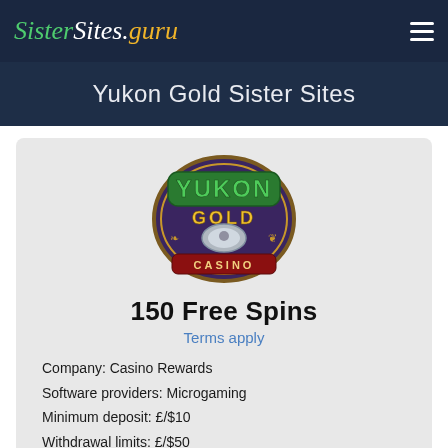SisterSites.guru
Yukon Gold Sister Sites
[Figure (logo): Yukon Gold Casino logo — circular badge with purple/dark background, green text 'YUKON', gold text 'GOLD', silver coin, and 'CASINO' banner]
150 Free Spins
Terms apply
Company: Casino Rewards
Software providers: Microgaming
Minimum deposit: £/$10
Withdrawal limits: £/$50
Payout speed: 2-3 days